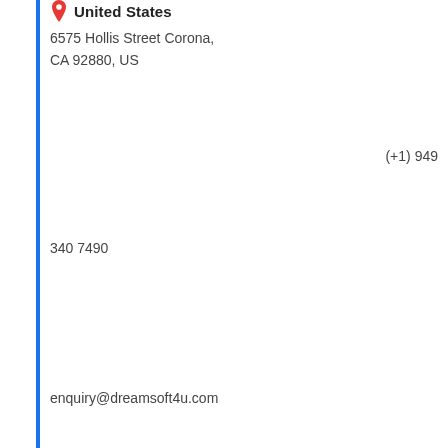[Figure (illustration): Red map pin / location marker icon]
United States
6575 Hollis Street Corona,
CA 92880, US
(+1) 949
340 7490
enquiry@dreamsoft4u.com